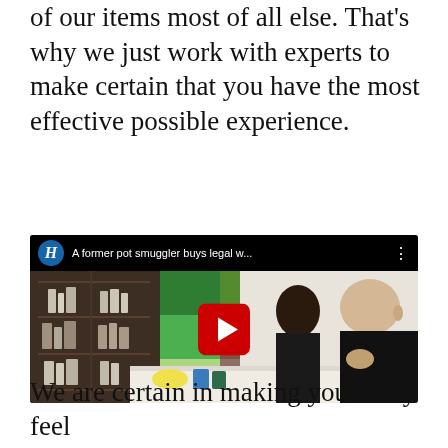of our items most of all else. That's why we just work with experts to make certain that you have the most effective possible experience.
[Figure (screenshot): Embedded YouTube video thumbnail showing an elderly man at a dispensary counter with a woman behind him. The video title reads 'A former pot smuggler buys legal w...' with a Herald logo (stylized H in blue circle) and a red YouTube play button in the center.]
We are certain in making you really feel